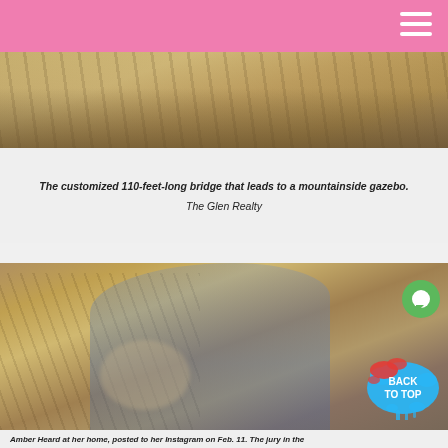[Figure (photo): Aerial or ground-level view of a wooden bridge structure in a rocky mountainside setting with sandy/rocky terrain.]
The customized 110-feet-long bridge that leads to a mountainside gazebo.
The Glen Realty
[Figure (photo): Amber Heard standing in profile view wearing a denim jacket, holding a child, with a wooden bridge visible in the background on a rocky mountainside. A green chat bubble icon and a 'BACK TO TOP' paint-splat badge are overlaid.]
Amber Heard at her home, posted to her Instagram on Feb. 11. The jury in the